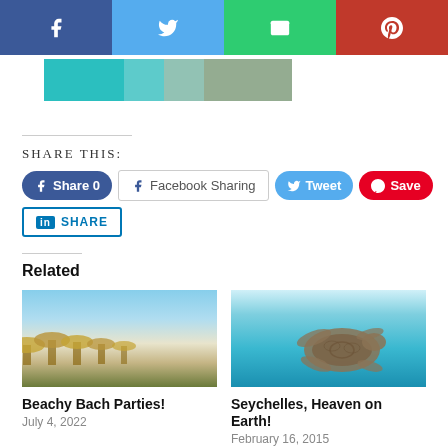[Figure (infographic): Social sharing bar with Facebook (dark blue), Twitter (light blue), Email/envelope (green), Pinterest (red) icons]
[Figure (photo): Partial photo strip showing teal water and a person's torso]
SHARE THIS:
[Figure (infographic): Share buttons row: Facebook Share 0 (blue rounded), Facebook Sharing (white outlined), Tweet (blue rounded), Save/Pinterest (red rounded), LinkedIn SHARE (outlined blue square)]
Related
[Figure (photo): Aerial view of a tropical beach with thatched umbrellas and white sand]
Beachy Bach Parties!
July 4, 2022
[Figure (photo): Underwater photo of a sea turtle swimming in clear blue water]
Seychelles, Heaven on Earth!
February 16, 2015